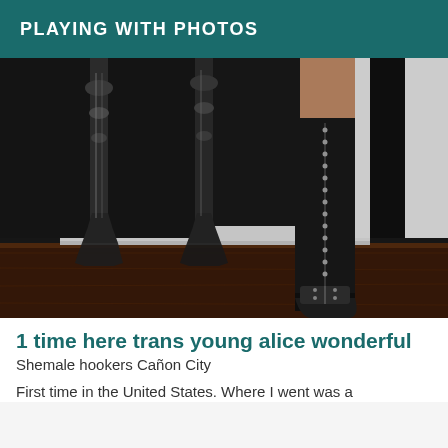PLAYING WITH PHOTOS
[Figure (photo): Dark interior room scene showing ornate black metal table legs with silver decorative details on wooden floor, and a person's leg wearing a tall black lace-up over-the-knee boot with open toe, near black and white curtains and white baseboard.]
1 time here trans young alice wonderful
Shemale hookers Cañon City
First time in the United States. Where I went was a